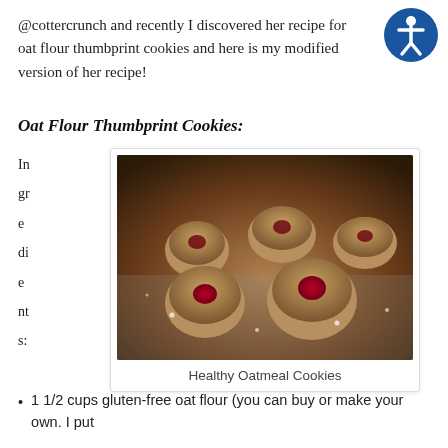@cottercrunch and recently I discovered her recipe for oat flour thumbprint cookies and here is my modified version of her recipe!
[Figure (illustration): Circular blue accessibility icon with a person figure in white on a dark blue background]
Oat Flour Thumbprint Cookies:
Ingredients:
[Figure (photo): Photo of healthy oatmeal thumbprint cookies on a foil-lined baking sheet, with red jam in the center indentations]
Healthy Oatmeal Cookies
1 1/2 cups gluten-free oat flour (you can buy or make your own. I put